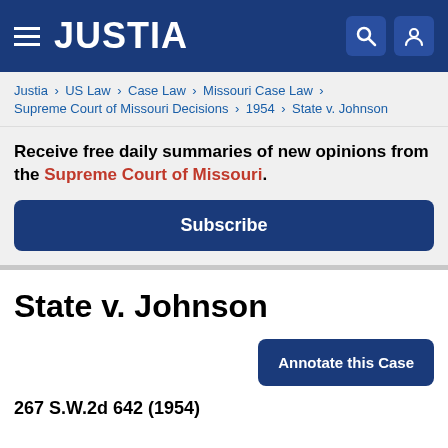JUSTIA
Justia › US Law › Case Law › Missouri Case Law › Supreme Court of Missouri Decisions › 1954 › State v. Johnson
Receive free daily summaries of new opinions from the Supreme Court of Missouri.
Subscribe
State v. Johnson
Annotate this Case
267 S.W.2d 642 (1954)